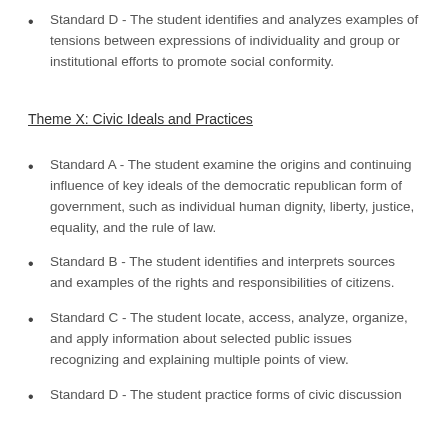Standard D - The student identifies and analyzes examples of tensions between expressions of individuality and group or institutional efforts to promote social conformity.
Theme X: Civic Ideals and Practices
Standard A - The student examine the origins and continuing influence of key ideals of the democratic republican form of government, such as individual human dignity, liberty, justice, equality, and the rule of law.
Standard B - The student identifies and interprets sources and examples of the rights and responsibilities of citizens.
Standard C - The student locate, access, analyze, organize, and apply information about selected public issues recognizing and explaining multiple points of view.
Standard D - The student practice forms of civic discussion...